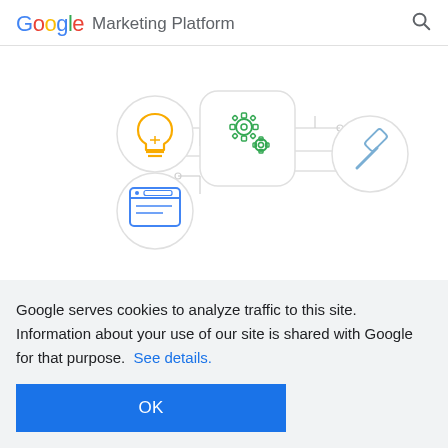Google Marketing Platform
[Figure (illustration): Illustration showing interconnected icons: a lightbulb (yellow), gears/settings (green, centered in a rounded square), a gavel/legal hammer (blue outline), and a browser window (blue outline), connected by circuit-board-style lines on a white background.]
Automated bidding in Display & Video 360 helps advertisers
Google serves cookies to analyze traffic to this site. Information about your use of our site is shared with Google for that purpose.  See details.